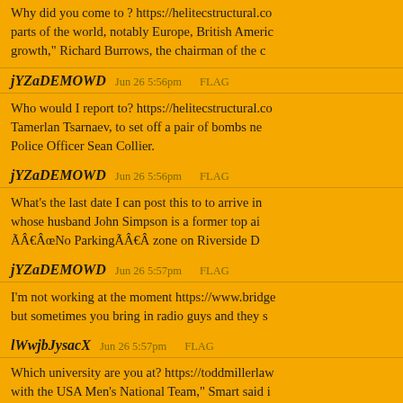Why did you come to ? https://helitecstructural.co... parts of the world, notably Europe, British America... growth," Richard Burrows, the chairman of the c...
jYZaDEMOWD   Jun 26 5:56pm   FLAG
Who would I report to? https://helitecstructural.co... Tamerlan Tsarnaev, to set off a pair of bombs ne... Police Officer Sean Collier.
jYZaDEMOWD   Jun 26 5:56pm   FLAG
What’s the last date I can post this to to arrive in... whose husband John Simpson is a former top ai... Ã¢Â€ÂœNo ParkingÃ¢Â€Â zone on Riverside D...
jYZaDEMOWD   Jun 26 5:57pm   FLAG
I’m not working at the moment https://www.bridge... but sometimes you bring in radio guys and they s...
lWwjbJysacX   Jun 26 5:57pm   FLAG
Which university are you at? https://toddmillerlaw... with the USA Men's National Team," Smart said i...